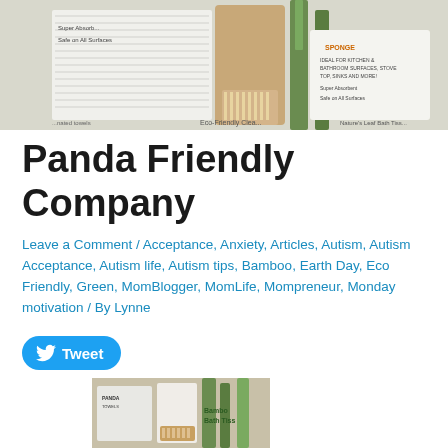[Figure (photo): Photo of eco-friendly bamboo cleaning products including sponges, towels, and a brush displayed on a surface]
Panda Friendly Company
Leave a Comment / Acceptance, Anxiety, Articles, Autism, Autism Acceptance, Autism life, Autism tips, Bamboo, Earth Day, Eco Friendly, Green, MomBlogger, MomLife, Mompreneur, Monday motivation / By Lynne
[Figure (other): Tweet button with Twitter bird icon]
[Figure (photo): Photo of bamboo bath tissue and other bamboo products displayed on a table]